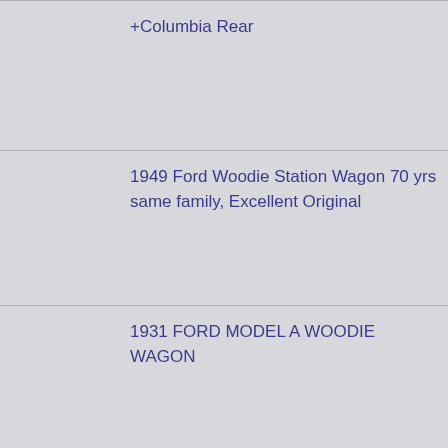+Columbia Rear
1949 Ford Woodie Station Wagon 70 yrs same family, Excellent Original
1931 FORD MODEL A WOODIE WAGON
Woodie AACA First original restored Model 48 Woody station wagon